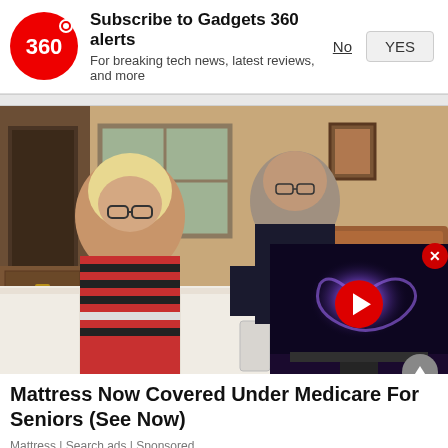[Figure (screenshot): Gadgets 360 subscription notification bar with logo, title 'Subscribe to Gadgets 360 alerts', subtitle 'For breaking tech news, latest reviews, and more', and No/YES buttons]
[Figure (photo): Two older adults (a woman with blonde hair and glasses in a striped sweater, and a man in a dark shirt) leaning over a white mattress in a bedroom. A video thumbnail overlay shows a TV with a galaxy image and a red play button. A close X button appears on the video overlay.]
Mattress Now Covered Under Medicare For Seniors (See Now)
Mattress | Search ads | Sponsored